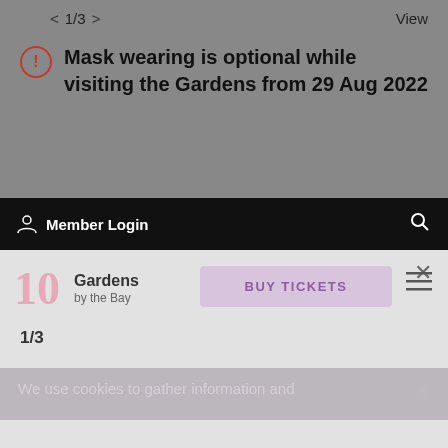< 1/3 >    View
Mask wearing is optional while visiting the Gardens from 29 Aug 2022
Member Login  (search icon)
[Figure (screenshot): Gardens by the Bay website modal overlay with logo, BUY TICKETS button, hamburger menu, close X, and page number 1/3]
We use cookies to gather information and improve your online experience. By accessing and using our website, you agree to this use of cookies. For further details, refer to our Privacy Policy